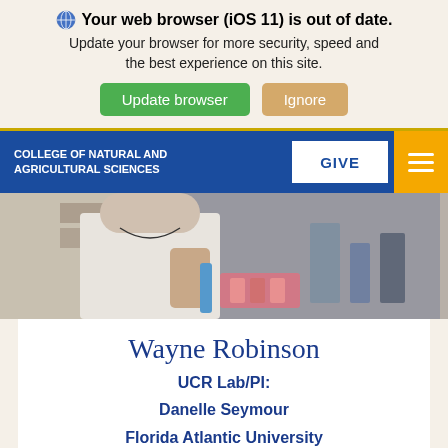Your web browser (iOS 11) is out of date. Update your browser for more security, speed and the best experience on this site.
Update browser | Ignore
COLLEGE OF NATURAL AND AGRICULTURAL SCIENCES | GIVE
[Figure (photo): Person in white lab coat using a pipette in a laboratory setting with equipment and shelving visible in background]
Wayne Robinson
UCR Lab/PI:
Danelle Seymour
Florida Atlantic University